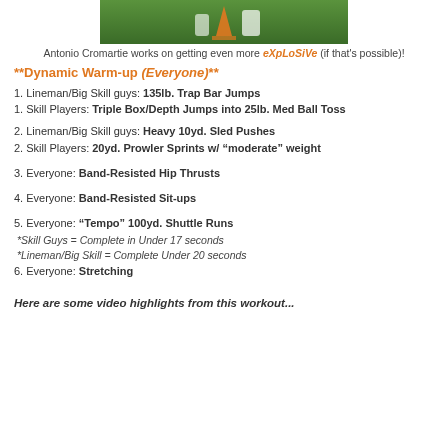[Figure (photo): Photo of Antonio Cromartie working out on a grass field with a traffic cone visible]
Antonio Cromartie works on getting even more eXpLoSiVe (if that's possible)!
**Dynamic Warm-up (Everyone)**
1. Lineman/Big Skill guys: 135lb. Trap Bar Jumps
1. Skill Players: Triple Box/Depth Jumps into 25lb. Med Ball Toss
2. Lineman/Big Skill guys: Heavy 10yd. Sled Pushes
2. Skill Players: 20yd. Prowler Sprints w/ "moderate" weight
3. Everyone: Band-Resisted Hip Thrusts
4. Everyone: Band-Resisted Sit-ups
5. Everyone: "Tempo" 100yd. Shuttle Runs
*Skill Guys = Complete in Under 17 seconds
*Lineman/Big Skill = Complete Under 20 seconds
6. Everyone: Stretching
Here are some video highlights from this workout...